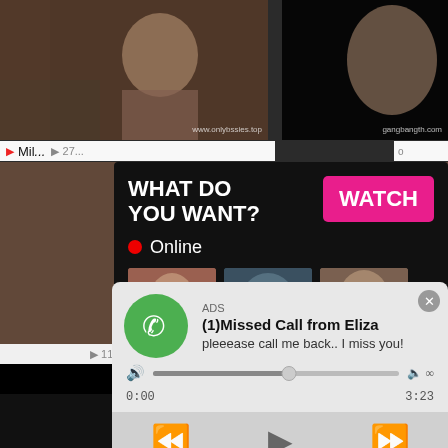[Figure (screenshot): Adult video website screenshot showing multiple video thumbnails with overlaid popup advertisements. Top row has two video thumbnails. Center shows a large image with a dark popup overlay containing 'WHAT DO YOU WANT?' text and a pink WATCH button, Online indicator, three mini thumbnails, and text 'Cumming, ass fucking, squirt or...' with ADS label and X close button. Below is a fake WhatsApp-style audio notification popup reading '(1)Missed Call from Eliza, pleeease call me back.. I miss you!' with green phone icon, progress bar showing 0:00 to 3:23, and media playback controls. Bottom shows partial video thumbnails.]